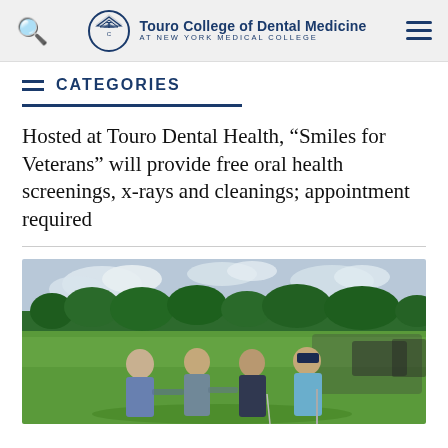Touro College of Dental Medicine AT NEW YORK MEDICAL COLLEGE
CATEGORIES
Hosted at Touro Dental Health, “Smiles for Veterans” will provide free oral health screenings, x-rays and cleanings; appointment required
[Figure (photo): Four men standing together on a golf course near golf carts, smiling, with green trees and fairway in the background.]